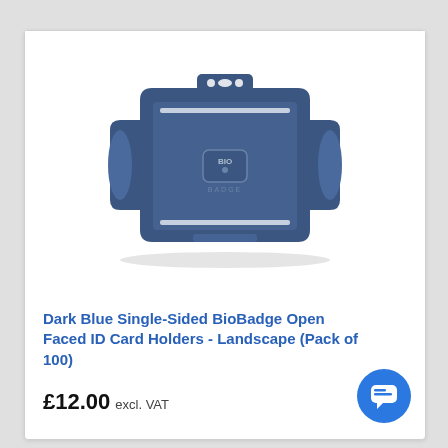[Figure (photo): Dark blue BioBadge open-faced landscape ID card holder, single-sided, with cutouts on sides, clip hole at top, and white accent lines at top and bottom. BioBadge logo embossed in center.]
Dark Blue Single-Sided BioBadge Open Faced ID Card Holders - Landscape (Pack of 100)
£12.00 excl. VAT